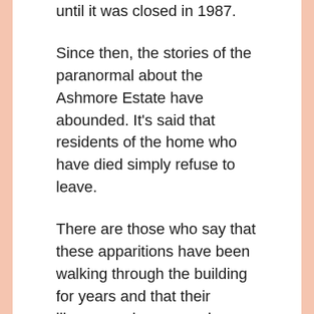until it was closed in 1987.
Since then, the stories of the paranormal about the Ashmore Estate have abounded. It's said that residents of the home who have died simply refuse to leave.
There are those who say that these apparitions have been walking through the building for years and that their likenesses have even been captured on tape.
They say the walls of the Ashmore Estate can talk and have stories to tell.
For many years ghost hunters visited the Ashmore